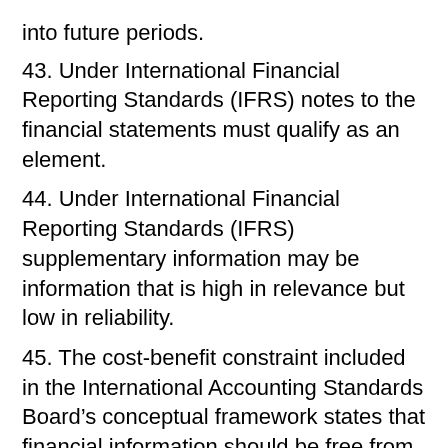into future periods.
43. Under International Financial Reporting Standards (IFRS) notes to the financial statements must qualify as an element.
44. Under International Financial Reporting Standards (IFRS) supplementary information may be information that is high in relevance but low in reliability.
45. The cost-benefit constraint included in the International Accounting Standards Board’s conceptual framework states that financial information should be free from cost to users of the information.
46. The International Accounting Standards Board’s (IASB) rule for materiality is any item under 5% of net income is considered immaterial.
47. The International Accounting Standards Board’s...